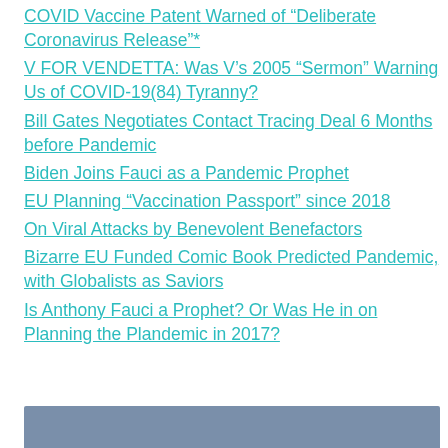COVID Vaccine Patent Warned of “Deliberate Coronavirus Release”*
V FOR VENDETTA: Was V’s 2005 “Sermon” Warning Us of COVID-19(84) Tyranny?
Bill Gates Negotiates Contact Tracing Deal 6 Months before Pandemic
Biden Joins Fauci as a Pandemic Prophet
EU Planning “Vaccination Passport” since 2018
On Viral Attacks by Benevolent Benefactors
Bizarre EU Funded Comic Book Predicted Pandemic, with Globalists as Saviors
Is Anthony Fauci a Prophet? Or Was He in on Planning the Plandemic in 2017?
[Figure (other): Blue-grey horizontal bar at the bottom of the page]